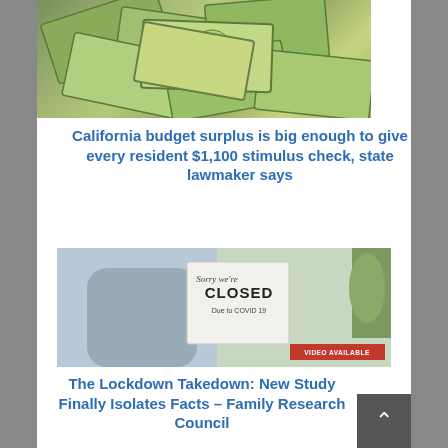[Figure (photo): Scattered US $100 dollar bills viewed from above]
California budget surplus is big enough to give every resident $1,100 stimulus check, state lawmaker says
[Figure (photo): Person in mask holding a 'Sorry We're CLOSED Due to COVID 19' sign in a store window with VIDEO AVAILABLE badge]
The Lockdown Takedown: New Study Finally Isolates Facts – Family Research Council